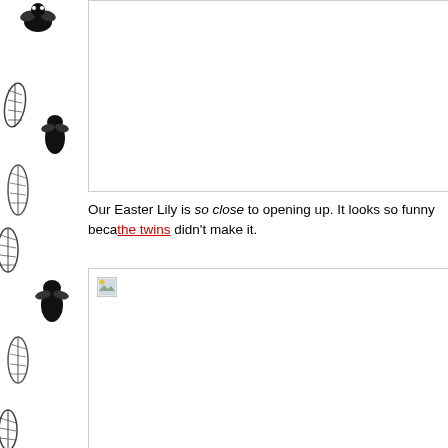[Figure (illustration): Left sidebar with repeating black insect/fly silhouettes and wing illustrations on white background]
[Figure (photo): Top image box, content not visible (blank/white area with gray border)]
Our Easter Lily is so close to opening up. It looks so funny beca... the twins didn't make it.
[Figure (photo): Bottom image box with broken image icon in upper left corner, content not fully visible]